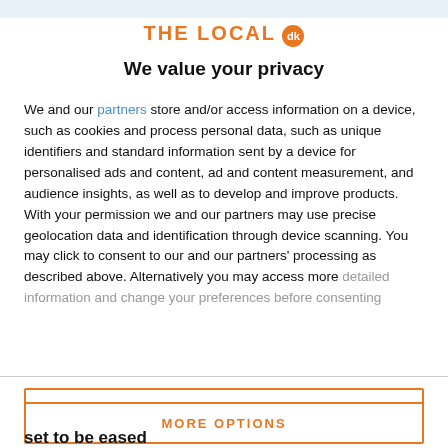THE LOCAL dk
We value your privacy
We and our partners store and/or access information on a device, such as cookies and process personal data, such as unique identifiers and standard information sent by a device for personalised ads and content, ad and content measurement, and audience insights, as well as to develop and improve products. With your permission we and our partners may use precise geolocation data and identification through device scanning. You may click to consent to our and our partners' processing as described above. Alternatively you may access more detailed information and change your preferences before consenting
ACCEPT
MORE OPTIONS
set to be eased